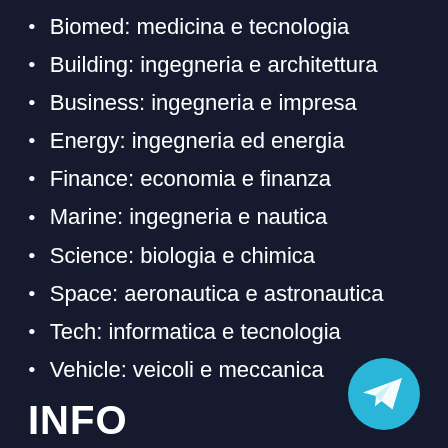Biomed: medicina e tecnologia
Building: ingegneria e architettura
Business: ingegneria e impresa
Energy: ingegneria ed energia
Finance: economia e finanza
Marine: ingegneria e nautica
Science: biologia e chimica
Space: aeronautica e astronautica
Tech: informatica e tecnologia
Vehicle: veicoli e meccanica
[Figure (logo): Telegram logo - cyan circle with white paper plane icon]
INFO